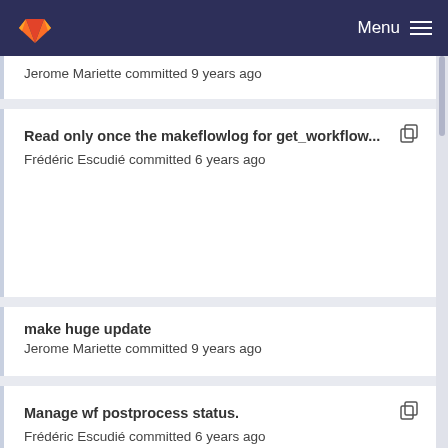Menu
Jerome Mariette committed 9 years ago
Read only once the makeflowlog for get_workflow...
Frédéric Escudié committed 6 years ago
make huge update
Jerome Mariette committed 9 years ago
Manage wf postprocess status.
Frédéric Escudié committed 6 years ago
make huge update